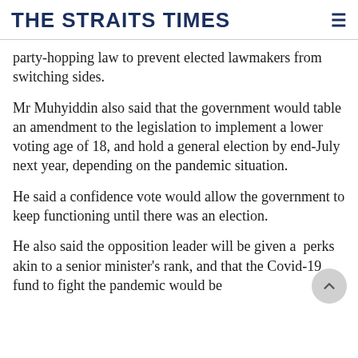THE STRAITS TIMES
party-hopping law to prevent elected lawmakers from switching sides.
Mr Muhyiddin also said that the government would table an amendment to the legislation to implement a lower voting age of 18, and hold a general election by end-July next year, depending on the pandemic situation.
He said a confidence vote would allow the government to keep functioning until there was an election.
He also said the opposition leader will be given a perks akin to a senior minister's rank, and that the Covid-19 fund to fight the pandemic would be